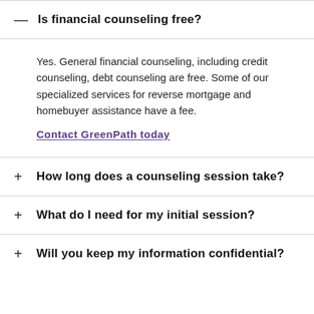Is financial counseling free?
Yes. General financial counseling, including credit counseling, debt counseling are free. Some of our specialized services for reverse mortgage and homebuyer assistance have a fee.
Contact GreenPath today
How long does a counseling session take?
What do I need for my initial session?
Will you keep my information confidential?